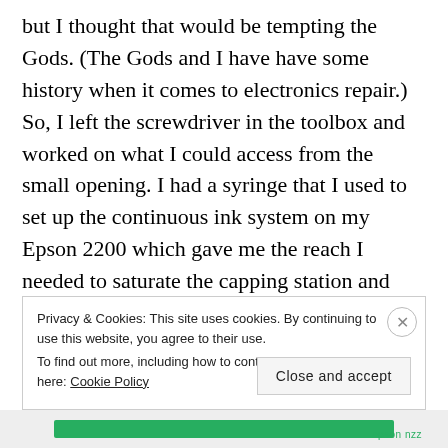but I thought that would be tempting the Gods. (The Gods and I have have some history when it comes to electronics repair.) So, I left the screwdriver in the toolbox and worked on what I could access from the small opening. I had a syringe that I used to set up the continuous ink system on my Epson 2200 which gave me the reach I needed to saturate the capping station and flushing box. The wiper was a bit more difficult. I was able to reach it with some q-tips but wasn't able to clean it as thoroughly as I would have liked. I ran through the steps three times with a standard clean
Privacy & Cookies: This site uses cookies. By continuing to use this website, you agree to their use. To find out more, including how to control cookies, see here: Cookie Policy
Close and accept